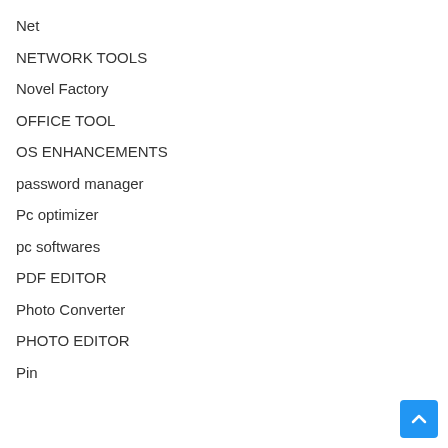Net
NETWORK TOOLS
Novel Factory
OFFICE TOOL
OS ENHANCEMENTS
password manager
Pc optimizer
pc softwares
PDF EDITOR
Photo Converter
PHOTO EDITOR
Pin